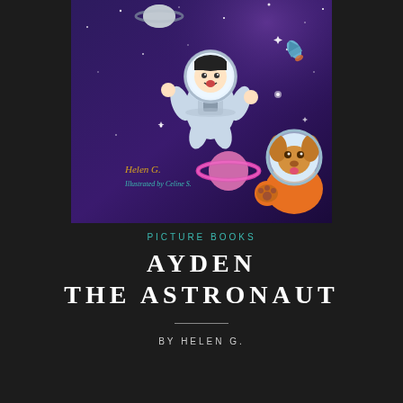[Figure (illustration): Book cover illustration showing a child in a white astronaut suit floating in space with stars, a ringed planet (pink/purple), a small rocket, and a golden retriever dog in an orange astronaut suit with a clear helmet. The background is deep purple/dark space. Text on the cover reads 'Helen G.' in gold and 'Illustrated by Celine S.' in teal.]
PICTURE BOOKS
AYDEN THE ASTRONAUT
BY HELEN G.